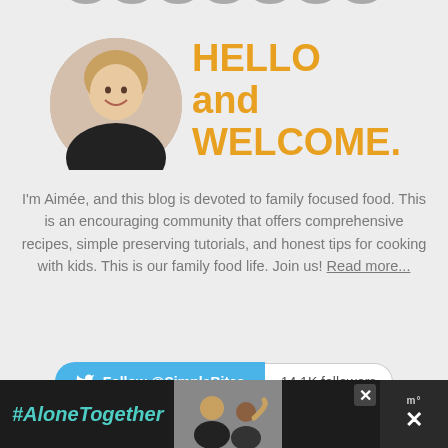[Figure (illustration): Partial grey social media icon circles visible at top edge of page]
[Figure (photo): Circular profile photo of a smiling woman with blonde hair wearing a black top]
HELLO and WELCOME.
I'm Aimée, and this blog is devoted to family focused food. This is an encouraging community that offers comprehensive recipes, simple preserving tutorials, and honest tips for cooking with kids. This is our family food life. Join us! Read more...
Follow @SimpleBites  14.1K followers
MY BOOKS:
[Figure (screenshot): Dark ad banner at bottom with #AloneTogether text in teal and a photo of a man and child waving, with close buttons]